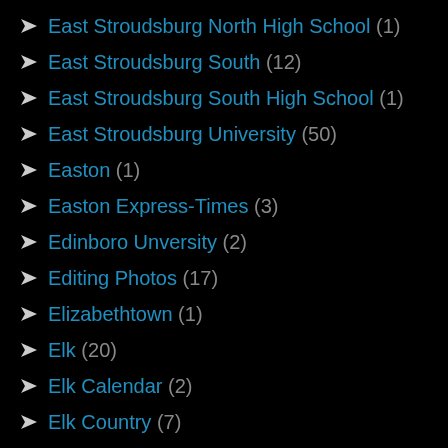East Stroudsburg North High School (1)
East Stroudsburg South (12)
East Stroudsburg South High School (1)
East Stroudsburg University (50)
Easton (1)
Easton Express-Times (3)
Edinboro Unversity (2)
Editing Photos (17)
Elizabethtown (1)
Elk (20)
Elk Calendar (2)
Elk Country (7)
Elk County (25)